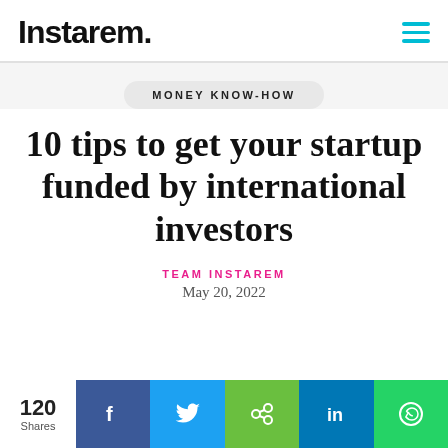Instarem.
MONEY KNOW-HOW
10 tips to get your startup funded by international investors
TEAM INSTAREM
May 20, 2022
120 Shares